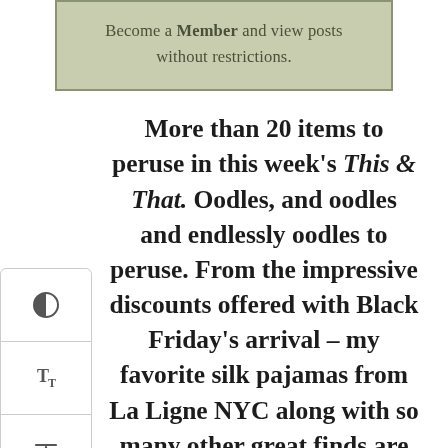Become a Member and view posts without restrictions.
More than 20 items to peruse in this week's This & That. Oodles, and oodles and endlessly oodles to peruse. From the impressive discounts offered with Black Friday's arrival – my favorite silk pajamas from La Ligne NYC along with so many other great finds are greatly discounted, Brené Brown's new book, a jazz album...